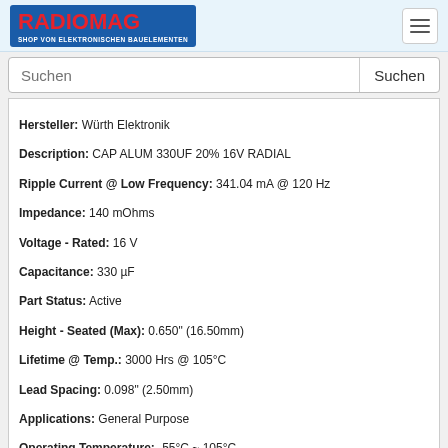RADIOMAG — SHOP VON ELEKTRONISCHEN BAUELEMENTEN
Hersteller: Würth Elektronik
Description: CAP ALUM 330UF 20% 16V RADIAL
Ripple Current @ Low Frequency: 341.04 mA @ 120 Hz
Impedance: 140 mOhms
Voltage - Rated: 16 V
Capacitance: 330 µF
Part Status: Active
Height - Seated (Max): 0.650" (16.50mm)
Lifetime @ Temp.: 3000 Hrs @ 105°C
Lead Spacing: 0.098" (2.50mm)
Applications: General Purpose
Operating Temperature: -55°C ~ 105°C
Mounting Type: Through Hole
Polarization: Polar
Size / Dimension: 0.248" Dia (6.30mm)
Packaging: Cut Tape (CT)
Tolerance: ±20%
Package / Case: Radial, Can
Ripple Current @ High Frequency: 588 mA @ 100 kHz
auf Bestellung 1 Stücke 🚚
Lieferzeit 21-28 Tag (e)